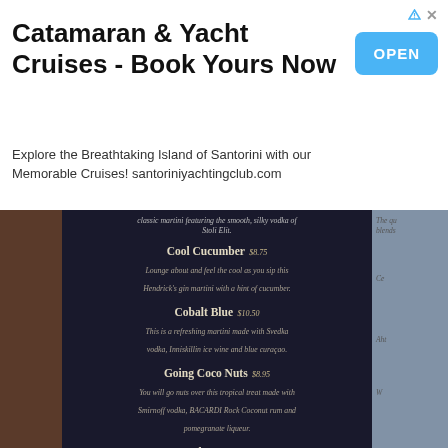[Figure (photo): Advertisement banner for Catamaran & Yacht Cruises with OPEN button]
Catamaran & Yacht Cruises - Book Yours Now
Explore the Breathtaking Island of Santorini with our Memorable Cruises! santoriniyachtingclub.com
[Figure (photo): Photo of a restaurant cocktail menu board showing drink items: Cool Cucumber $8.75, Cobalt Blue $10.50, Going Coco Nuts $8.95, French Cosmo $9.75, Snowball Colada $9.75]
classic martini featuring the smooth, silky vodka of Stoli Elit.
Cool Cucumber $8.75
Lounge about and feel the cool as you sip this Hendrick's gin martini with a hint of cucumber.
Cobalt Blue $10.50
This is a refreshing martini made with Svedka vodka, Inniskillin ice wine and blue curaçao.
Going Coco Nuts $8.95
You will go nuts over this tropical treat made with Smirnoff vodka, BACARDI Rock Coconut rum and pomegranate liqueur.
French Cosmo $9.75
The well-known Cosmopolitan made with Grey Goose vodka and a kiss of Grand Marnier.
Snowball Colada $9.75
This elegant and tasty martini features SVEDKA Colada vodka, pineapple juice and Inniskillin Ice wine topped with club soda.